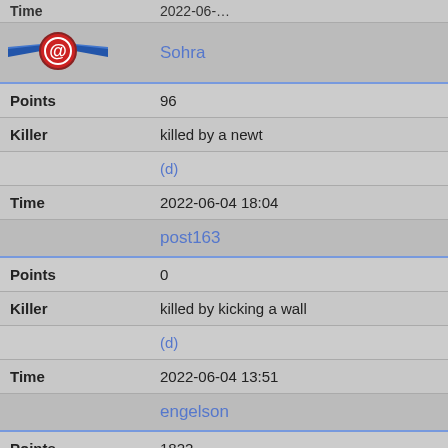|  |  |
| --- | --- |
| [icon] | Sohra |
| Points | 96 |
| Killer | killed by a newt |
|  | (d) |
| Time | 2022-06-04 18:04 |
|  | post163 |
| Points | 0 |
| Killer | killed by kicking a wall |
|  | (d) |
| Time | 2022-06-04 13:51 |
|  | engelson |
| Points | 1822 |
| Killer | killed by a gold golem, while dragging an iron ball |
|  | (d) |
| Time | 2022-06-03 18:20 |
|  | engelson |
| Points | 1413 |